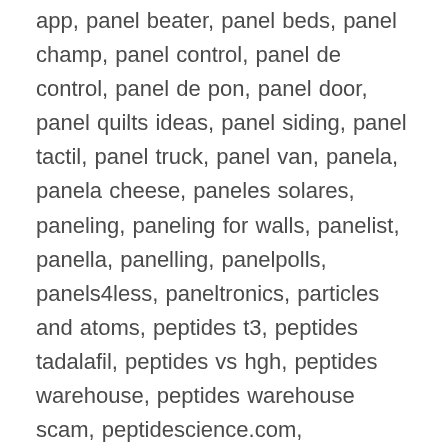app, panel beater, panel beds, panel champ, panel control, panel de control, panel de pon, panel door, panel quilts ideas, panel siding, panel tactil, panel truck, panel van, panela, panela cheese, paneles solares, paneling, paneling for walls, panelist, panella, panelling, panelpolls, panels4less, paneltronics, particles and atoms, peptides t3, peptides tadalafil, peptides vs hgh, peptides warehouse, peptides warehouse scam, peptidescience.com, peptidesciences, reagents coa, reagents define, reagents defined, reagents definition, reagents eso, reagents for corona testing, reagents for organic synthesis, reagents nc, reagents needed for covid 19 testing, reagents meaning,